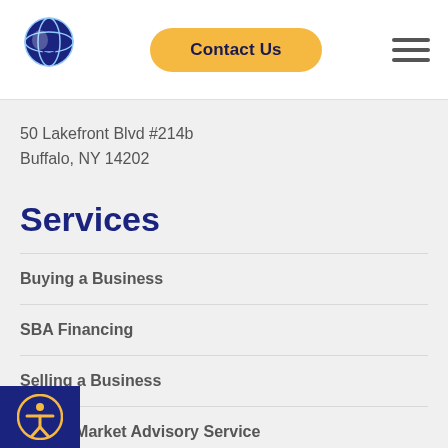Contact Us
50 Lakefront Blvd #214b
Buffalo, NY 14202
Services
Buying a Business
SBA Financing
Selling a Business
Middle Market Advisory Service
Main Street Brokerage